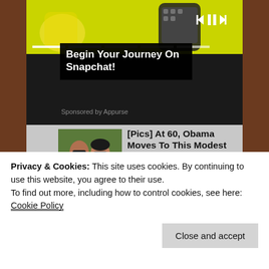[Figure (screenshot): Yellow-green Snapchat app banner with hand emoji, phone illustration, and music player controls with progress bar]
Begin Your Journey On Snapchat!
Sponsored by Appurse
[Figure (photo): Photo of two people, man wearing sunglasses and woman wearing sunglasses, outdoors with green trees in background]
[Pics] At 60, Obama Moves To This Modest House, Take A Look...
BuzzAura
[Figure (photo): Beige/tan book or document cover with text CAMP LEJEUNE contaminated]
PACT Act Passed - Camp Lejeune Justice
Privacy & Cookies: This site uses cookies. By continuing to use this website, you agree to their use.
To find out more, including how to control cookies, see here:
Cookie Policy
Close and accept